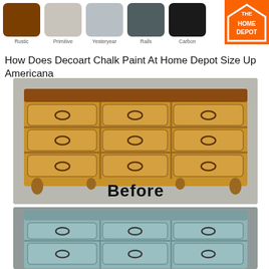[Figure (illustration): Five paint color swatches: Rustic (brown), Primitive (light beige/gray), Yesteryear (light blue-gray), Rails (dark gray), Carbon (near black), with labels beneath each swatch. Home Depot logo in top right corner.]
How Does Decoart Chalk Paint At Home Depot Size Up Americana
[Figure (photo): Before photo of a natural wood French provincial dresser with 9 drawers arranged in 3 columns and 3 rows, ornate curved legs and drawer fronts, dark hardware pulls. The word 'Before' is displayed in bold black text overlaid on the lower center of the dresser.]
[Figure (photo): After photo of the same French provincial dresser now painted in a soft blue-gray chalk paint color, showing the top portion with the same 9-drawer arrangement and dark hardware pulls visible.]